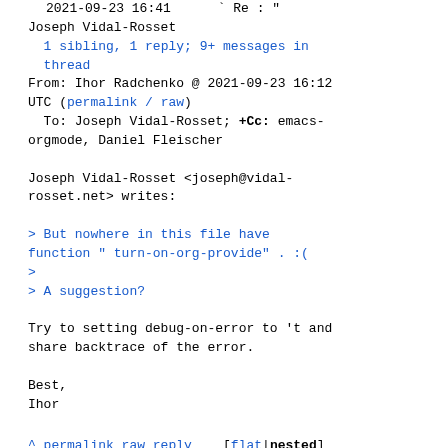2021-09-23 16:41     ` Re : "
Joseph Vidal-Rosset
  1 sibling, 1 reply; 9+ messages in thread
From: Ihor Radchenko @ 2021-09-23 16:12 UTC (permalink / raw)
  To: Joseph Vidal-Rosset; +Cc: emacs-orgmode, Daniel Fleischer

Joseph Vidal-Rosset <joseph@vidal-rosset.net> writes:

> But nowhere in this file have function " turn-on-org-provide" . :(
>
> A suggestion?

Try to setting debug-on-error to 't and share backtrace of the error.

Best,
Ihor
^ permalink raw reply    [flat|nested]
9+ messages in thread
■
* Re : Re: Capture abort: Symbol's